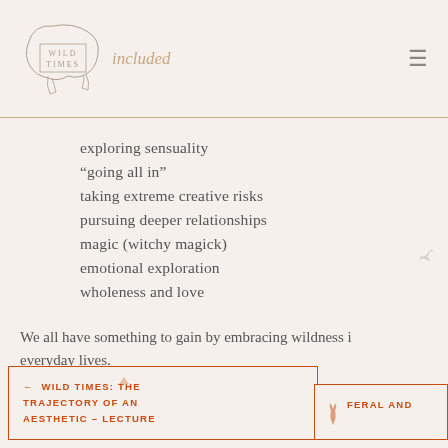Wild Times — included
exploring sensuality
“going all in”
taking extreme creative risks
pursuing deeper relationships
magic (witchy magick)
emotional exploration
wholeness and love
We all have something to gain by embracing wildness i[n our] everyday lives.
-Eric Olson
← WILD TIMES: THE TRAJECTORY OF AN AESTHETIC – LECTURE | FERAL AND...